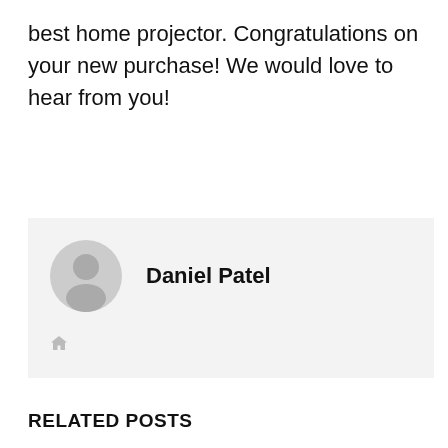best home projector. Congratulations on your new purchase! We would love to hear from you!
[Figure (illustration): Author profile card with a circular grey avatar icon showing a person silhouette, bold name 'Daniel Patel', and a small home/website icon below, on a light grey background.]
RELATED POSTS